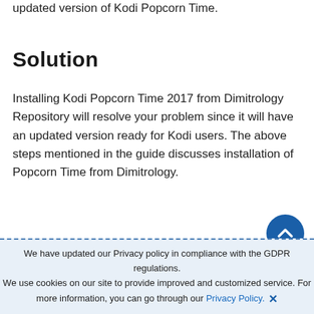updated version of Kodi Popcorn Time.
Solution
Installing Kodi Popcorn Time 2017 from Dimitrology Repository will resolve your problem since it will have an updated version ready for Kodi users. The above steps mentioned in the guide discusses installation of Popcorn Time from Dimitrology.
We have updated our Privacy policy in compliance with the GDPR regulations. We use cookies on our site to provide improved and customized service. For more information, you can go through our Privacy Policy. ✕